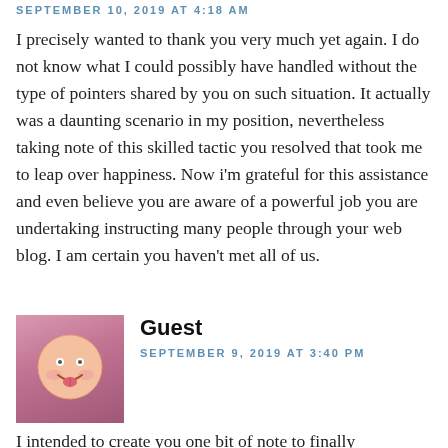SEPTEMBER 10, 2019 AT 4:18 AM
I precisely wanted to thank you very much yet again. I do not know what I could possibly have handled without the type of pointers shared by you on such situation. It actually was a daunting scenario in my position, nevertheless taking note of this skilled tactic you resolved that took me to leap over happiness. Now i'm grateful for this assistance and even believe you are aware of a powerful job you are undertaking instructing many people through your web blog. I am certain you haven't met all of us.
[Figure (illustration): Circular avatar image of a cartoon smiley face emoji with rosy cheeks and a tongue sticking out, on a pink/purple gradient background]
Guest
SEPTEMBER 9, 2019 AT 3:40 PM
I intended to create you one bit of note to finally